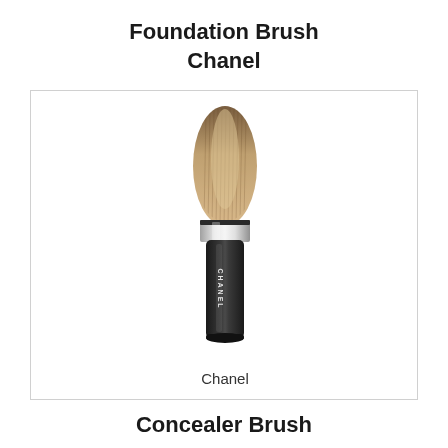Foundation Brush
Chanel
[Figure (photo): A Chanel foundation brush with soft bristles at the top, a silver ferrule, and a black handle with CHANEL text engraved on it.]
Chanel
Concealer Brush